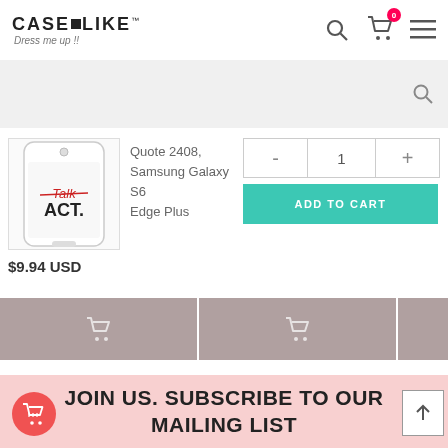CaseLike™ Dress me up !!
[Figure (screenshot): Product image: phone case with 'Talk ACT.' text design for Samsung Galaxy S6 Edge Plus]
Quote 2408, Samsung Galaxy S6 Edge Plus
- 1 +
ADD TO CART
$9.94 USD
JOIN US. SUBSCRIBE TO OUR MAILING LIST